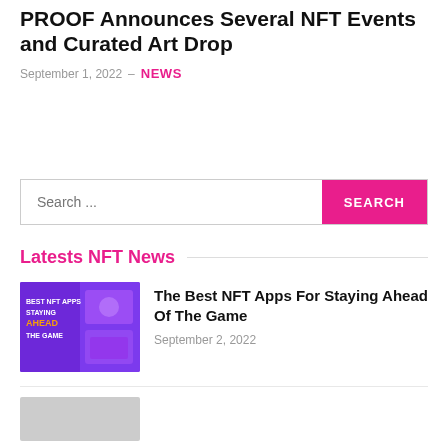PROOF Announces Several NFT Events and Curated Art Drop
September 1, 2022 – NEWS
Search ...
Latests NFT News
[Figure (photo): Purple promotional image for 'Best NFT Apps Staying Ahead of the Game']
The Best NFT Apps For Staying Ahead Of The Game
September 2, 2022